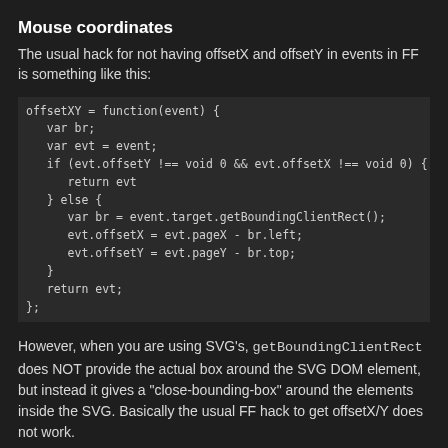Mouse coordinates
The usual hack for not having offsetX and offsetY in events in FF is something like this:
offsetXY = function(event) {
   var br;
   var evt = event;
   if (evt.offsetY !== void 0 && evt.offsetX !== void 0) {
      return evt
   } else {
      var br = event.target.getBoundingClientRect();
      evt.offsetX = evt.pageX - br.left;
      evt.offsetY = evt.pageY - br.top;
   }
   return evt;
};
However, when you are using SVG's, getBoundingClientRect does NOT provide the actual box around the SVG DOM element, but instead it gives a "close-bounding-box" around the elements inside the SVG. Basically the usual FF hack to get offsetX/Y does not work.